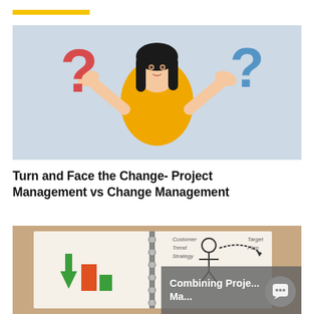[Figure (photo): Woman in yellow turtleneck sweater with hands raised, red question mark on left side, blue question mark on right side, light blue/grey background]
Turn and Face the Change- Project Management vs Change Management
[Figure (photo): Notebook with hand-drawn project management diagrams including arrows and bar charts. Overlay text reads 'Combining Proje... Ma...' with chat bubble icon.]